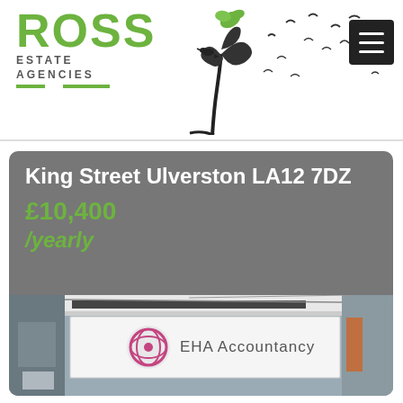[Figure (logo): Ross Estate Agencies logo with green text 'ROSS', subtitle 'ESTATE AGENCIES', decorative tree with birds, green horizontal lines]
King Street Ulverston LA12 7DZ
£10,400
/yearly
[Figure (photo): Shop front of EHA Accountancy with white signboard showing pink globe logo and text 'EHA Accountancy']